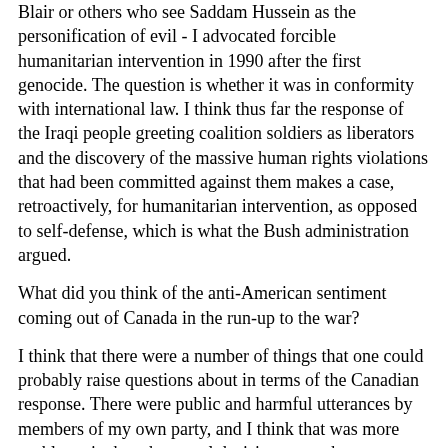Blair or others who see Saddam Hussein as the personification of evil - I advocated forcible humanitarian intervention in 1990 after the first genocide. The question is whether it was in conformity with international law. I think thus far the response of the Iraqi people greeting coalition soldiers as liberators and the discovery of the massive human rights violations that had been committed against them makes a case, retroactively, for humanitarian intervention, as opposed to self-defense, which is what the Bush administration argued.
What did you think of the anti-American sentiment coming out of Canada in the run-up to the war?
I think that there were a number of things that one could probably raise questions about in terms of the Canadian response. There were public and harmful utterances by members of my own party, and I think that was more problematic than the actual decision we took not to endorse the war . I think we have to more clearly reaffirm our alliance with America in the post-9-11 universe, and in the struggle against transnational terrorism, and I think we might not have made it clear that we supported the US as a matter of principle, that we regard Saddam Hussein as the personification of evil, and that the issues we had with the US were not on principle but on timing and approach.
In February, the Israeli cabinet voted to bring the Falash Mura to